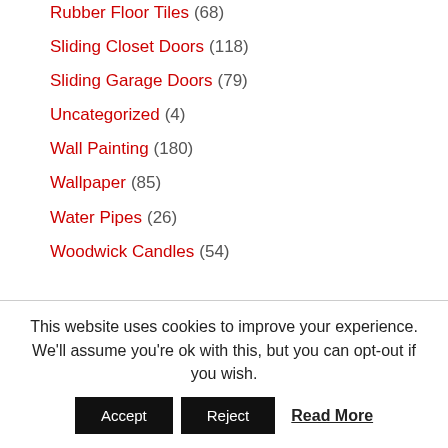Rubber Floor Tiles (68)
Sliding Closet Doors (118)
Sliding Garage Doors (79)
Uncategorized (4)
Wall Painting (180)
Wallpaper (85)
Water Pipes (26)
Woodwick Candles (54)
CONTACT US
This website uses cookies to improve your experience. We'll assume you're ok with this, but you can opt-out if you wish.